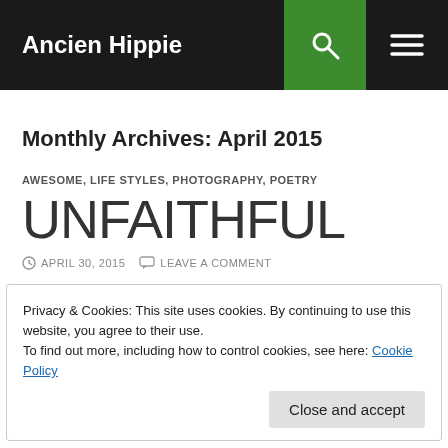Ancien Hippie
Monthly Archives: April 2015
AWESOME, LIFE STYLES, PHOTOGRAPHY, POETRY
UNFAITHFUL
APRIL 30, 2015   LEAVE A COMMENT
Privacy & Cookies: This site uses cookies. By continuing to use this website, you agree to their use.
To find out more, including how to control cookies, see here: Cookie Policy
Close and accept
into glowing eyes